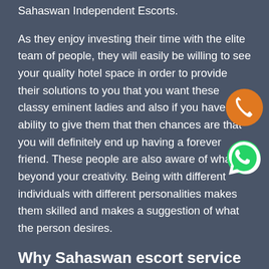Sahaswan Independent Escorts.
As they enjoy investing their time with the elite team of people, they will easily be willing to see your quality hotel space in order to provide their solutions to you that you want these classy eminent ladies and also if you have the ability to give them that then chances are that you will definitely end up having a forever friend. These people are also aware of what is beyond your creativity. Being with different individuals with different personalities makes them skilled and makes a suggestion of what the person desires.
[Figure (illustration): Orange circle with white phone/call icon]
[Figure (illustration): Green WhatsApp logo icon]
Why Sahaswan escort service popular?
If you think life contains unwanted stress and also